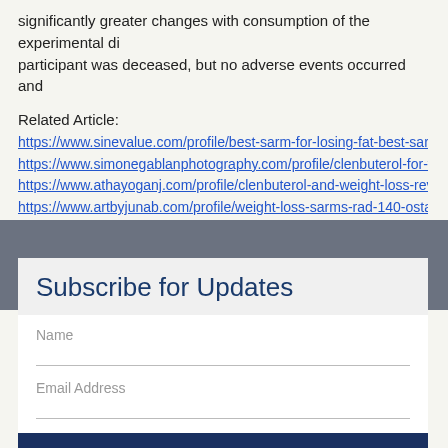significantly greater changes with consumption of the experimental di participant was deceased, but no adverse events occurred and
Related Article:
https://www.sinevalue.com/profile/best-sarm-for-losing-fat-best-sarms
https://www.simonegablanphotography.com/profile/clenbuterol-for-we
https://www.athayoganj.com/profile/clenbuterol-and-weight-loss-revie
https://www.artbyjunab.com/profile/weight-loss-sarms-rad-140-ostarin
Subscribe for Updates
Name
Email Address
Subscribe